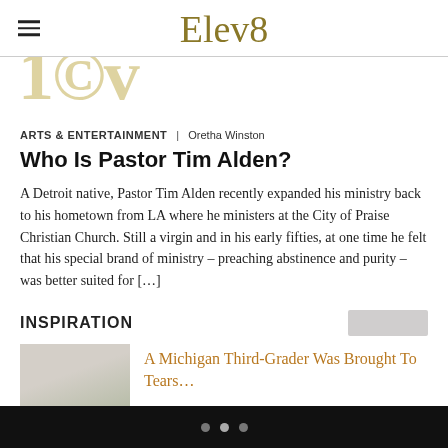Elev8
[Figure (other): Partial decorative background image with large gold letters, cropped]
ARTS & ENTERTAINMENT | Oretha Winston
Who Is Pastor Tim Alden?
A Detroit native, Pastor Tim Alden recently expanded his ministry back to his hometown from LA where he ministers at the City of Praise Christian Church. Still a virgin and in his early fifties, at one time he felt that his special brand of ministry – preaching abstinence and purity – was better suited for […]
INSPIRATION
[Figure (photo): Thumbnail photo of a person, partially visible]
A Michigan Third-Grader Was Brought To Tears…